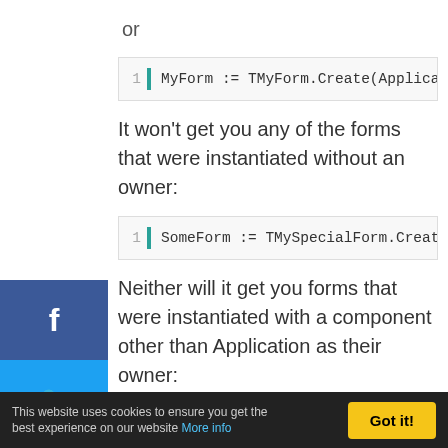or
MyForm := TMyForm.Create(Applicatio
It won't get you any of the forms that were instantiated without an owner:
SomeForm := TMySpecialForm.Create(n
Neither will it get you forms that were instantiated with a component other than Application as their owner:
SecondForm := TSecondForm.Create(Fi
This website uses cookies to ensure you get the best experience on our website More info
Got it!